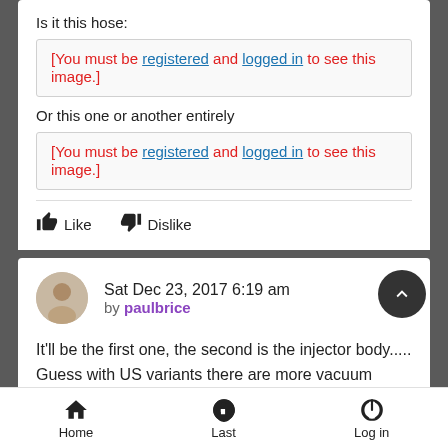Is it this hose:
[Figure (other): [You must be registered and logged in to see this image.]]
Or this one or another entirely
[Figure (other): [You must be registered and logged in to see this image.]]
Like   Dislike
Sat Dec 23, 2017 6:19 am
by paulbrice
It'll be the first one, the second is the injector body..... Guess with US variants there are more vacuum returns for emissions re cycle so you get the braided pipe and connector as well.
Home   Last   Log in